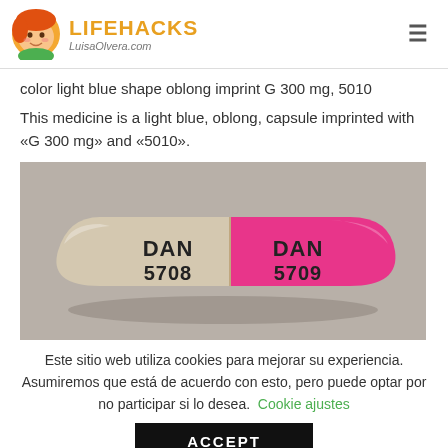LIFEHACKS LuisaOlvera.com
color light blue shape oblong imprint G 300 mg, 5010
This medicine is a light blue, oblong, capsule imprinted with «G 300 mg» and «5010».
[Figure (photo): A photograph of a two-tone capsule pill (beige/clear and pink), with 'DAN 5708' imprinted on both halves.]
Este sitio web utiliza cookies para mejorar su experiencia. Asumiremos que está de acuerdo con esto, pero puede optar por no participar si lo desea.  Cookie ajustes
ACCEPT